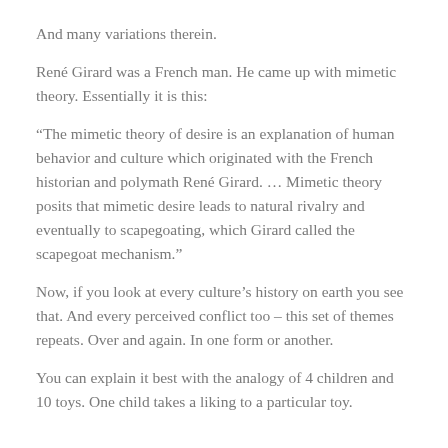And many variations therein.
René Girard was a French man. He came up with mimetic theory. Essentially it is this:
“The mimetic theory of desire is an explanation of human behavior and culture which originated with the French historian and polymath René Girard. ... Mimetic theory posits that mimetic desire leads to natural rivalry and eventually to scapegoating, which Girard called the scapegoat mechanism.”
Now, if you look at every culture’s history on earth you see that. And every perceived conflict too – this set of themes repeats. Over and again. In one form or another.
You can explain it best with the analogy of 4 children and 10 toys. One child takes a liking to a particular toy.